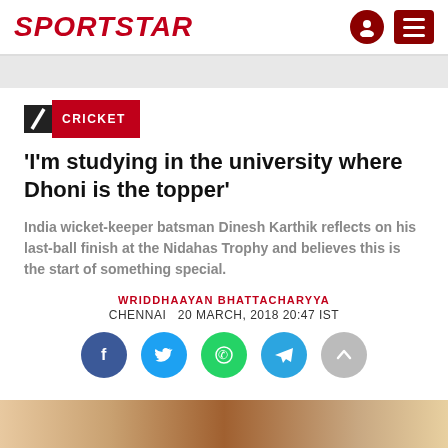SPORTSTAR
CRICKET
'I'm studying in the university where Dhoni is the topper'
India wicket-keeper batsman Dinesh Karthik reflects on his last-ball finish at the Nidahas Trophy and believes this is the start of something special.
WRIDDHAAYAN BHATTACHARYYA
CHENNAI  20 MARCH, 2018 20:47 IST
[Figure (other): Social sharing icons: Facebook, Twitter, WhatsApp, Telegram, and scroll-to-top button]
[Figure (photo): Partial photo at the bottom of the page showing a cricket-related image]